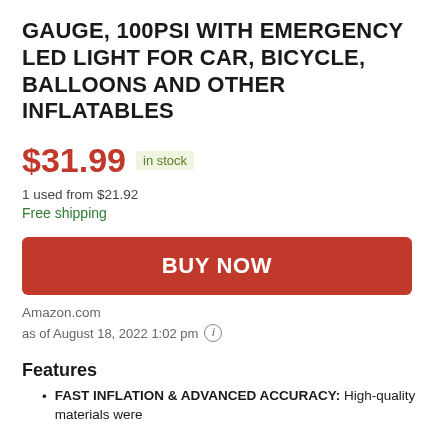GAUGE, 100PSI WITH EMERGENCY LED LIGHT FOR CAR, BICYCLE, BALLOONS AND OTHER INFLATABLES
$31.99  in stock
1 used from $21.92
Free shipping
BUY NOW
Amazon.com
as of August 18, 2022 1:02 pm
Features
FAST INFLATION & ADVANCED ACCURACY: High-quality materials were